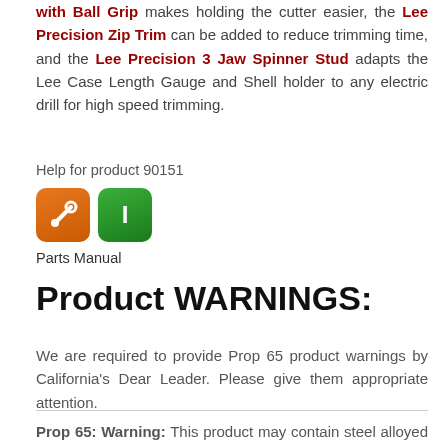with Ball Grip makes holding the cutter easier, the Lee Precision Zip Trim can be added to reduce trimming time, and the Lee Precision 3 Jaw Spinner Stud adapts the Lee Case Length Gauge and Shell holder to any electric drill for high speed trimming.
Help for product 90151
[Figure (illustration): Two icon buttons: an orange icon with a wrench symbol and a green icon with a white letter I]
Parts Manual
Product WARNINGS:
We are required to provide Prop 65 product warnings by California's Dear Leader. Please give them appropriate attention.
Prop 65: Warning: This product may contain steel alloyed with trace amounts of lead and other elements which are known to the State of California to cause reproductive harm and cancer.